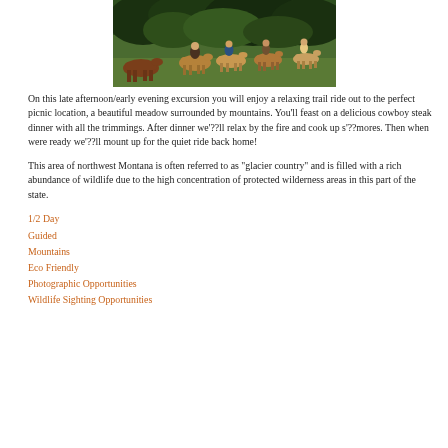[Figure (photo): Group of riders on horseback seen from behind, riding through a meadow with green trees and lush vegetation in the background.]
On this late afternoon/early evening excursion you will enjoy a relaxing trail ride out to the perfect picnic location, a beautiful meadow surrounded by mountains. You'll feast on a delicious cowboy steak dinner with all the trimmings. After dinner we'??ll relax by the fire and cook up s'??mores. Then when were ready we'??ll mount up for the quiet ride back home!
This area of northwest Montana is often referred to as "glacier country" and is filled with a rich abundance of wildlife due to the high concentration of protected wilderness areas in this part of the state.
1/2 Day
Guided
Mountains
Eco Friendly
Photographic Opportunities
Wildlife Sighting Opportunities